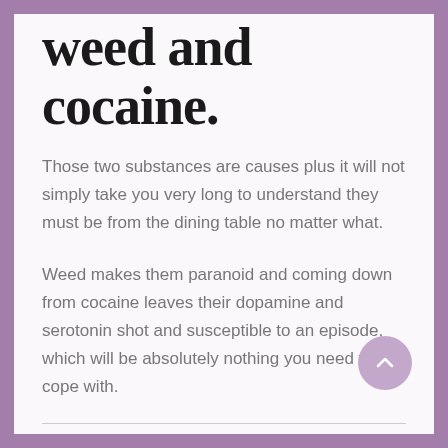weed and cocaine.
Those two substances are causes plus it will not simply take you very long to understand they must be from the dining table no matter what.
Weed makes them paranoid and coming down from cocaine leaves their dopamine and serotonin shot and susceptible to an episode, which will be absolutely nothing you need to cope with.